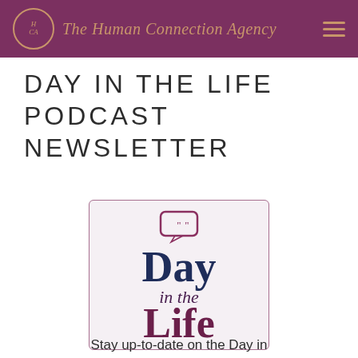The Human Connection Agency
DAY IN THE LIFE PODCAST NEWSLETTER
[Figure (logo): Day in the Life podcast logo: speech bubble icon above stylized text reading 'Day in the Life' in dark navy and purple serif fonts on a light pinkish-white background with rounded border]
Stay up-to-date on the Day in